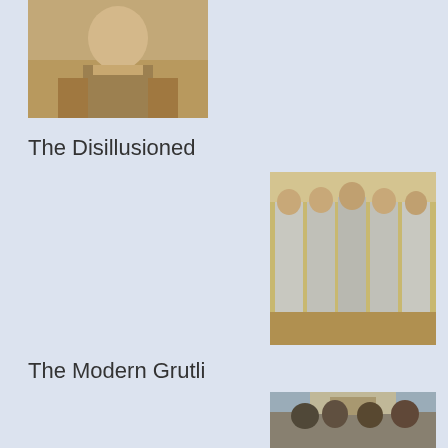[Figure (photo): Partial view of a seated man, painting or photo, warm brown tones, cropped at top of page]
The Disillusioned
[Figure (photo): Five men seated in a row, dressed in grey/white robes, painting style, golden background — 'The Disillusioned' artwork]
The Modern Grutli
[Figure (photo): Group of men in early 20th century dress standing and conversing in front of a building — 'The Modern Grutli' painting]
Child At The Table
[Figure (photo): Partial image at bottom of page, warm tones, cropped]